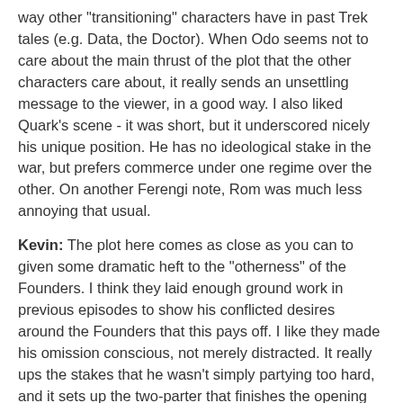way other "transitioning" characters have in past Trek tales (e.g. Data, the Doctor). When Odo seems not to care about the main thrust of the plot that the other characters care about, it really sends an unsettling message to the viewer, in a good way. I also liked Quark's scene - it was short, but it underscored nicely his unique position. He has no ideological stake in the war, but prefers commerce under one regime over the other. On another Ferengi note, Rom was much less annoying that usual.
Kevin: The plot here comes as close as you can to given some dramatic heft to the "otherness" of the Founders. I think they laid enough ground work in previous episodes to show his conflicted desires around the Founders that this pays off. I like they made his omission conscious, not merely distracted. It really ups the stakes that he wasn't simply partying too hard, and it sets up the two-parter that finishes the opening arc of the season really well.
Acting
Matthew: Rene Auberjonois is the star here, in tandem with